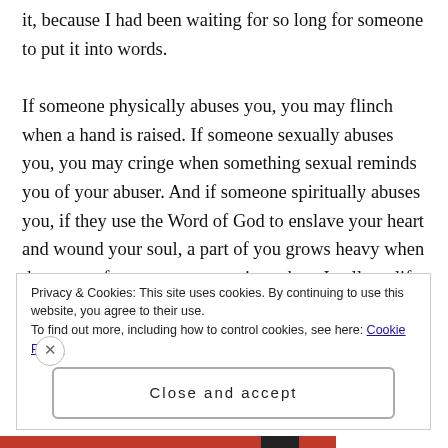it, because I had been waiting for so long for someone to put it into words.

If someone physically abuses you, you may flinch when a hand is raised. If someone sexually abuses you, you may cringe when something sexual reminds you of your abuser. And if someone spiritually abuses you, if they use the Word of God to enslave your heart and wound your soul, a part of you grows heavy when the name of your own creator is spoken. In all my life, I have experienced no greater harm
Privacy & Cookies: This site uses cookies. By continuing to use this website, you agree to their use.
To find out more, including how to control cookies, see here: Cookie Policy
Close and accept